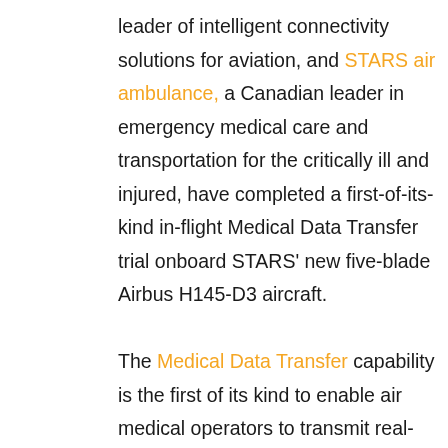leader of intelligent connectivity solutions for aviation, and STARS air ambulance, a Canadian leader in emergency medical care and transportation for the critically ill and injured, have completed a first-of-its-kind in-flight Medical Data Transfer trial onboard STARS' new five-blade Airbus H145-D3 aircraft.

The Medical Data Transfer capability is the first of its kind to enable air medical operators to transmit real-time patient medical data such as O2 and CO2 saturation, pulse rate, and blood pressure data directly to remote transport physicians and receiving centers